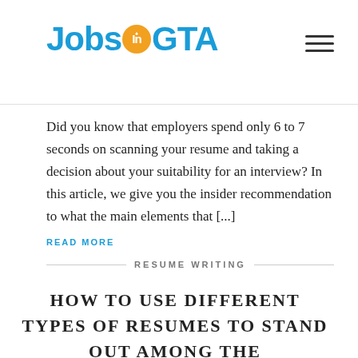JobsInGTA
Did you know that employers spend only 6 to 7 seconds on scanning your resume and taking a decision about your suitability for an interview? In this article, we give you the insider recommendation to what the main elements that [...]
READ MORE
RESUME WRITING
HOW TO USE DIFFERENT TYPES OF RESUMES TO STAND OUT AMONG THE COMPETITION
October 19, 2017